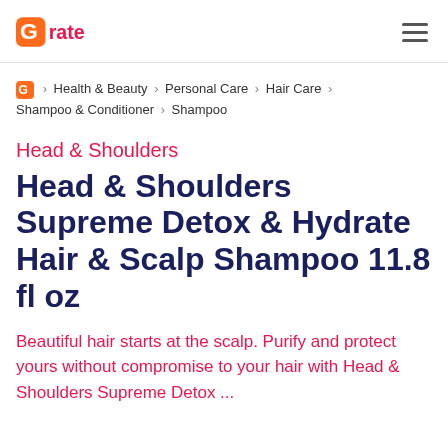Grate
G > Health & Beauty > Personal Care > Hair Care > Shampoo & Conditioner > Shampoo
Head & Shoulders
Head & Shoulders Supreme Detox & Hydrate Hair & Scalp Shampoo 11.8 fl oz
Beautiful hair starts at the scalp. Purify and protect yours without compromise to your hair with Head & Shoulders Supreme Detox ...